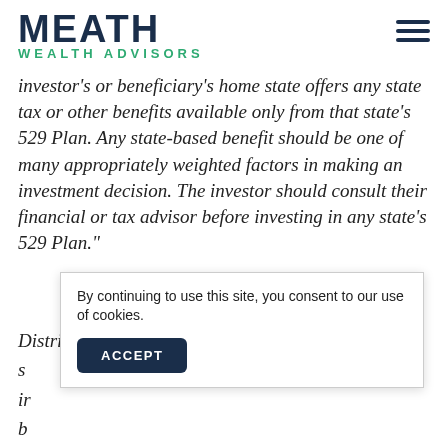MEATH WEALTH ADVISORS
investor's or beneficiary's home state offers any state tax or other benefits available only from that state's 529 Plan. Any state-based benefit should be one of many appropriately weighted factors in making an investment decision. The investor should consult their financial or tax advisor before investing in any state's 529 Plan."
Distributions from traditional IRAs and employer sponsored retirement plans are taxed as ordinary income and, if taken prior to age 59½, may be subject to an additional 10% federal income tax penalty. Generally, the investment growth in such plans is tax-deferred.
By continuing to use this site, you consent to our use of cookies.